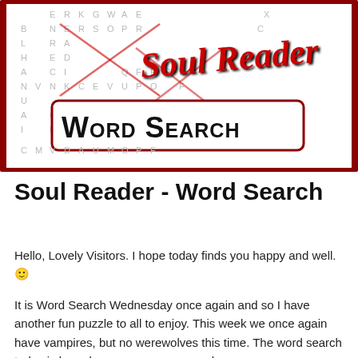[Figure (illustration): Word search puzzle image with 'Soul Reader' logo in red cursive script at top, overlaying a letter grid. Below the logo is a white rounded rectangle with bold black text 'Word Search'. The outer border of the image is dark red. The background shows a grid of letters with red X crossing marks.]
Soul Reader - Word Search
Hello, Lovely Visitors. I hope today finds you happy and well. 🙂
It is Word Search Wednesday once again and so I have another fun puzzle to all to enjoy. This week we once again have vampires, but no werewolves this time. The word search today is based on my gay paranormal romance